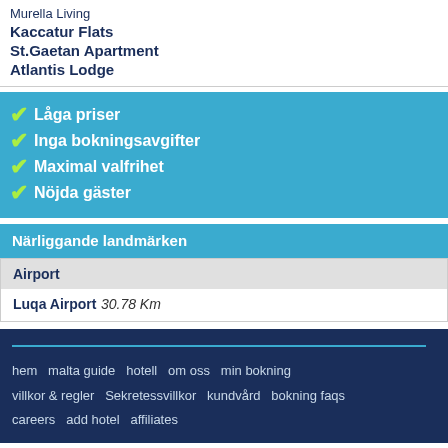Murella Living
Kaccatur Flats
St.Gaetan Apartment
Atlantis Lodge
✔ Låga priser
✔ Inga bokningsavgifter
✔ Maximal valfrihet
✔ Nöjda gäster
Närliggande landmärken
Airport
Luqa Airport 30.78 Km
hem  malta guide  hotell  om oss  min bokning  villkor & regler  Sekretessvillkor  kundvård  bokning faqs  careers  add hotel  affiliates